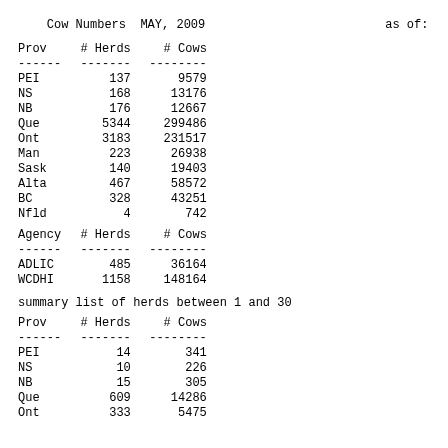Cow Numbers  MAY, 2009                              as of:
| Prov | # Herds | # Cows |
| --- | --- | --- |
| PEI | 137 | 9579 |
| NS | 168 | 13176 |
| NB | 176 | 12667 |
| Que | 5344 | 299486 |
| Ont | 3183 | 231517 |
| Man | 223 | 26938 |
| Sask | 140 | 19403 |
| Alta | 467 | 58572 |
| BC | 328 | 43251 |
| Nfld | 4 | 742 |
| Agency | # Herds | # Cows |
| --- | --- | --- |
| ADLIC | 485 | 36164 |
| WCDHI | 1158 | 148164 |
summary list of herds between 1 and 30
| Prov | # Herds | # Cows |
| --- | --- | --- |
| PEI | 14 | 341 |
| NS | 10 | 226 |
| NB | 15 | 305 |
| Que | 609 | 14286 |
| Ont | 333 | 5475 |